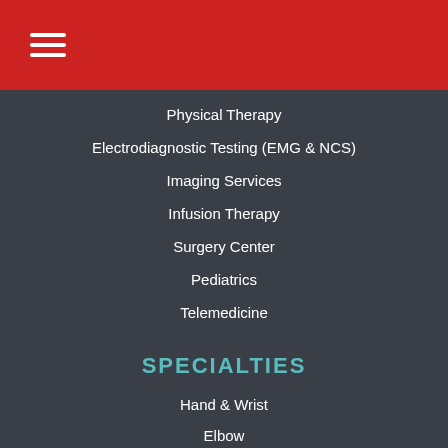☰
Physical Therapy
Electrodiagnostic Testing (EMG & NCS)
Imaging Services
Infusion Therapy
Surgery Center
Pediatrics
Telemedicine
SPECIALTIES
Hand & Wrist
Elbow
Shoulder
Hip
Knee
Foot & Ankle